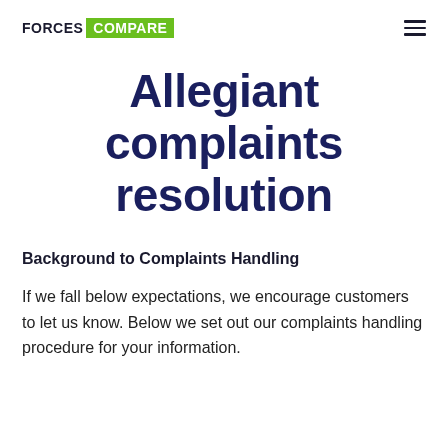FORCES COMPARE
Allegiant complaints resolution
Background to Complaints Handling
If we fall below expectations, we encourage customers to let us know. Below we set out our complaints handling procedure for your information.